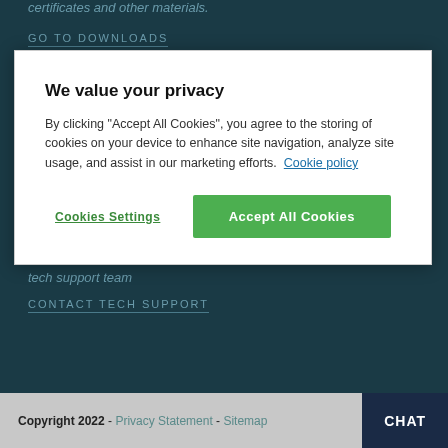certificates and other materials.
GO TO DOWNLOADS
We value your privacy
By clicking "Accept All Cookies", you agree to the storing of cookies on your device to enhance site navigation, analyze site usage, and assist in our marketing efforts.  Cookie policy
Cookies Settings
Accept All Cookies
tech support team
CONTACT TECH SUPPORT
Copyright 2022 - Privacy Statement - Sitemap  CHAT